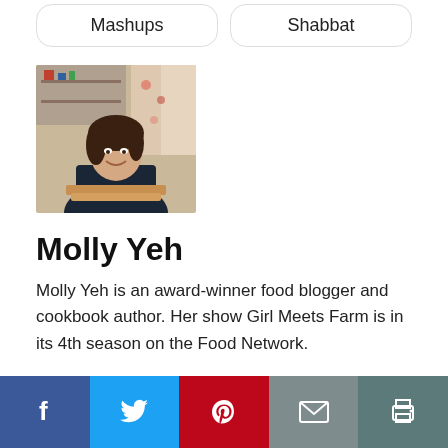Mashups
Shabbat
[Figure (photo): Portrait photo of Molly Yeh, a woman smiling in a kitchen setting]
Molly Yeh
Molly Yeh is an award-winner food blogger and cookbook author. Her show Girl Meets Farm is in its 4th season on the Food Network.
Social sharing bar: Facebook, Twitter, Pinterest, Email, Print